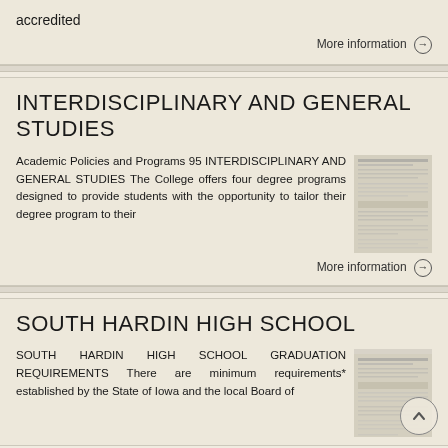accredited
More information →
INTERDISCIPLINARY AND GENERAL STUDIES
Academic Policies and Programs 95 INTERDISCIPLINARY AND GENERAL STUDIES The College offers four degree programs designed to provide students with the opportunity to tailor their degree program to their
[Figure (screenshot): Thumbnail image of a document page]
More information →
SOUTH HARDIN HIGH SCHOOL
SOUTH HARDIN HIGH SCHOOL GRADUATION REQUIREMENTS There are minimum requirements* established by the State of Iowa and the local Board of
[Figure (screenshot): Thumbnail image of a document page]